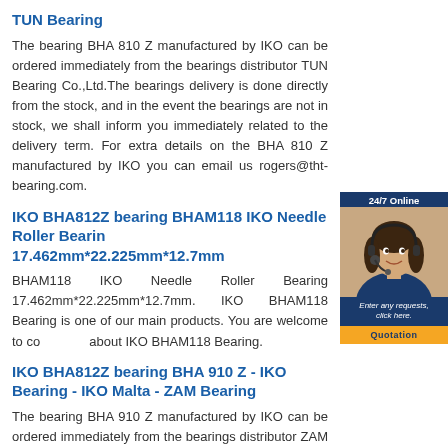TUN Bearing
The bearing BHA 810 Z manufactured by IKO can be ordered immediately from the bearings distributor TUN Bearing Co.,Ltd.The bearings delivery is done directly from the stock, and in the event the bearings are not in stock, we shall inform you immediately related to the delivery term. For extra details on the BHA 810 Z manufactured by IKO you can email us rogers@tht-bearing.com.
IKO BHA812Z bearing BHAM118 IKO Needle Roller Bearing 17.462mm*22.225mm*12.7mm
BHAM118 IKO Needle Roller Bearing 17.462mm*22.225mm*12.7mm. IKO BHAM118 Bearing is one of our main products. You are welcome to contact us about IKO BHAM118 Bearing.
[Figure (other): Customer service widget showing a woman with headset, 24/7 Online label, Enter any requests click here text, and Quotation button]
IKO BHA812Z bearing BHA 910 Z - IKO Bearing - IKO Malta - ZAM Bearing
The bearing BHA 910 Z manufactured by IKO can be ordered immediately from the bearings distributor ZAM Bearing Co.,Ltd.The bearings delivery is done directly from the stock, and in the event the bearings are not in stock, we shall inform you immediately related to the delivery term. For extra details on the BHA 910 Z manufactured by IKO you can email us rogers@tht-bearing.com.